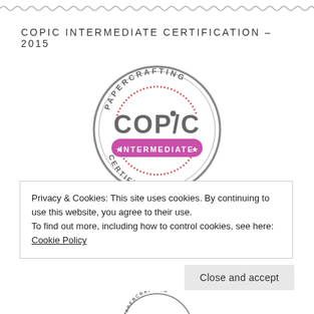[Figure (illustration): Wavy/zigzag decorative border line separating sections]
COPIC INTERMEDIATE CERTIFICATION – 2015
[Figure (logo): Copic Papercrafting Intermediate Certification badge/seal - circular grey border with 'PAPERCRAFTING' at top, 'COPIC' in large letters, 'INTERMEDIATE' in pink rounded rectangle banner with stars, 'CERTIFICATION' at bottom]
Privacy & Cookies: This site uses cookies. By continuing to use this website, you agree to their use.
To find out more, including how to control cookies, see here: Cookie Policy
Close and accept
[Figure (logo): Partial view of another Copic Papercrafting certification badge at bottom of page]